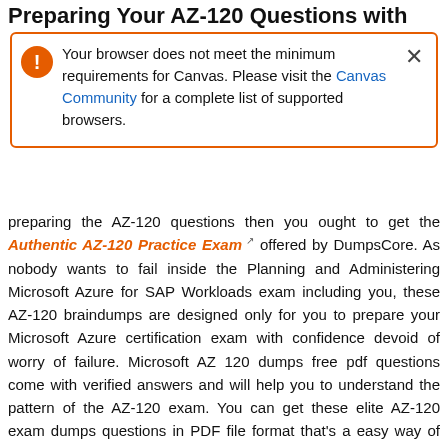Preparing Your AZ-120 Questions with
[Figure (screenshot): Browser notification box with orange border and warning icon: 'Your browser does not meet the minimum requirements for Canvas. Please visit the Canvas Community for a complete list of supported browsers.' with a close X button.]
preparing the AZ-120 questions then you ought to get the Authentic AZ-120 Practice Exam offered by DumpsCore. As nobody wants to fail inside the Planning and Administering Microsoft Azure for SAP Workloads exam including you, these AZ-120 braindumps are designed only for you to prepare your Microsoft Azure certification exam with confidence devoid of worry of failure. Microsoft AZ 120 dumps free pdf questions come with verified answers and will help you to understand the pattern of the AZ-120 exam. You can get these elite AZ-120 exam dumps questions in PDF file format that's a easy way of preparing AZ-120 new questions anytime and anyplace simply because you'll be able to use these AZ-120 practice questions in any device for obtaining a better Planning and Administering Microsoft Azure for SAP Workloads exam results in the very first